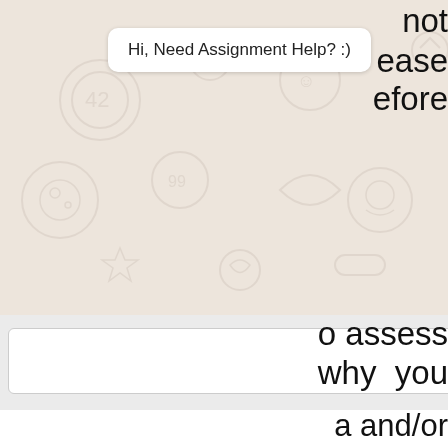[Figure (screenshot): WhatsApp chat interface screenshot showing a chat bubble with 'Hi, Need Assignment Help? :)' message, decorative WhatsApp background pattern, input bar with green send button, and partial document text on the right side reading fragments like 'ease', 'efore', 'o assess', 'why you', 'a and/or'. Bottom shows partial text: 'social media affect the patient?', 'hat type of mandatory reporting (if any', 'required in this case? Why?'. WhatsApp green icon and blue chat icon visible at bottom.]
Hi, Need Assignment Help? :)
o assess
why  you
a and/or
social media affect the patient?
hat type of mandatory reporting (if any
required in this case? Why?